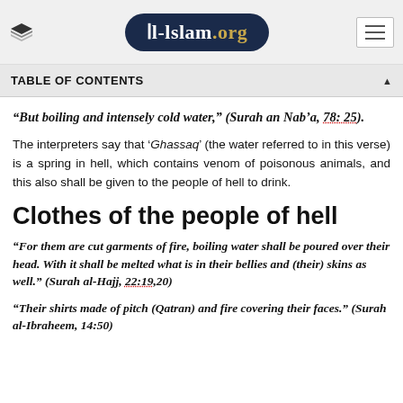Al-Islam.org
TABLE OF CONTENTS
“But boiling and intensely cold water,” (Surah an Nab’a, 78: 25).
The interpreters say that ‘Ghassaq’ (the water referred to in this verse) is a spring in hell, which contains venom of poisonous animals, and this also shall be given to the people of hell to drink.
Clothes of the people of hell
“For them are cut garments of fire, boiling water shall be poured over their head. With it shall be melted what is in their bellies and (their) skins as well.” (Surah al-Hajj, 22:19,20)
“Their shirts made of pitch (Qatran) and fire covering their faces.” (Surah al-Ibraheem, 14:50)